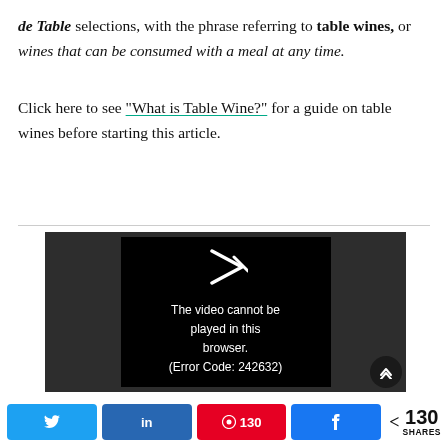de Table selections, with the phrase referring to table wines, or wines that can be consumed with a meal at any time.

Click here to see “What is Table Wine?” for a guide on table wines before starting this article.
[Figure (screenshot): A video player showing an error message: 'The video cannot be played in this browser. (Error Code: 242632)' with a play icon on a dark background.]
Twitter share | LinkedIn share | Pinterest 130 shares | Facebook share | < 130 SHARES